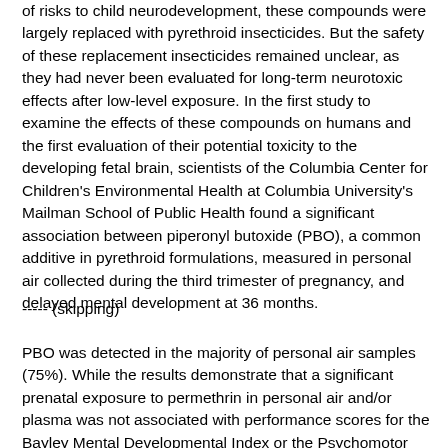of risks to child neurodevelopment, these compounds were largely replaced with pyrethroid insecticides. But the safety of these replacement insecticides remained unclear, as they had never been evaluated for long-term neurotoxic effects after low-level exposure. In the first study to examine the effects of these compounds on humans and the first evaluation of their potential toxicity to the developing fetal brain, scientists of the Columbia Center for Children's Environmental Health at Columbia University's Mailman School of Public Health found a significant association between piperonyl butoxide (PBO), a common additive in pyrethroid formulations, measured in personal air collected during the third trimester of pregnancy, and delayed mental development at 36 months.
----- (skipping)
PBO was detected in the majority of personal air samples (75%). While the results demonstrate that a significant prenatal exposure to permethrin in personal air and/or plasma was not associated with performance scores for the Bayley Mental Developmental Index or the Psychomotor